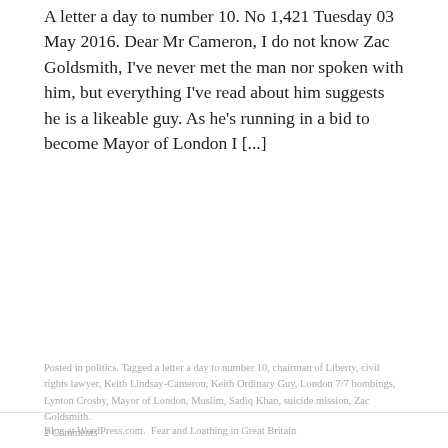A letter a day to number 10. No 1,421 Tuesday 03 May 2016. Dear Mr Cameron, I do not know Zac Goldsmith, I've never met the man nor spoken with him, but everything I've read about him suggests he is a likeable guy. As he's running in a bid to become Mayor of London I [...]
Posted in politics. Tagged a letter a day to number 10, chairman of Liberty, civil rights lawyer, Keith Lindsay-Cameron, Keith Ordinary Guy, London 7/7 bombings, Lynton Crosby, Mayor of London, Muslim, Sadiq Khan, suicide mission, Zac Goldsmith.
2 Comments
Blog at WordPress.com.  Fear and Loathing in Great Britain